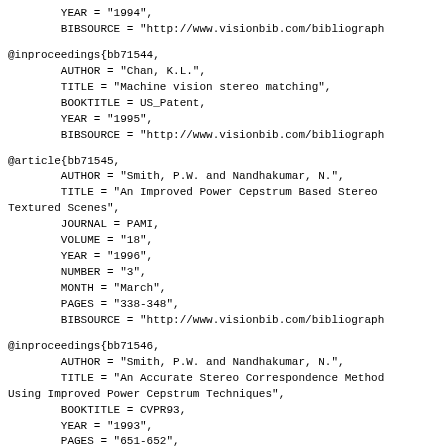YEAR = "1994",
        BIBSOURCE = "http://www.visionbib.com/bibliograph
@inproceedings{bb71544,
        AUTHOR = "Chan, K.L.",
        TITLE = "Machine vision stereo matching",
        BOOKTITLE = US_Patent,
        YEAR = "1995",
        BIBSOURCE = "http://www.visionbib.com/bibliograph
@article{bb71545,
        AUTHOR = "Smith, P.W. and Nandhakumar, N.",
        TITLE = "An Improved Power Cepstrum Based Stereo
Textured Scenes",
        JOURNAL = PAMI,
        VOLUME = "18",
        YEAR = "1996",
        NUMBER = "3",
        MONTH = "March",
        PAGES = "338-348",
        BIBSOURCE = "http://www.visionbib.com/bibliograph
@inproceedings{bb71546,
        AUTHOR = "Smith, P.W. and Nandhakumar, N.",
        TITLE = "An Accurate Stereo Correspondence Method
Using Improved Power Cepstrum Techniques",
        BOOKTITLE = CVPR93,
        YEAR = "1993",
        PAGES = "651-652",
        BIBSOURCE = "http://www.visionbib.com/bibliograph